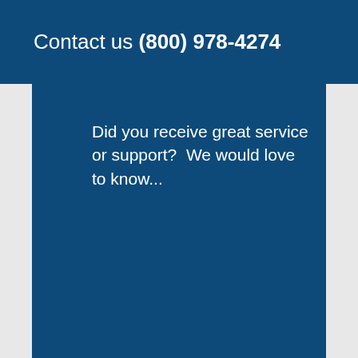Contact us (800) 978-4274
Did you receive great service or support?  We would love to know...